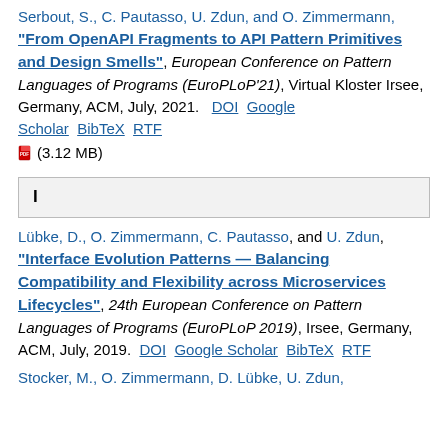Serbout, S., C. Pautasso, U. Zdun, and O. Zimmermann, "From OpenAPI Fragments to API Pattern Primitives and Design Smells", European Conference on Pattern Languages of Programs (EuroPLoP'21), Virtual Kloster Irsee, Germany, ACM, July, 2021.  DOI  Google Scholar  BibTeX  RTF  (3.12 MB)
I
Lübke, D., O. Zimmermann, C. Pautasso, and U. Zdun, "Interface Evolution Patterns — Balancing Compatibility and Flexibility across Microservices Lifecycles", 24th European Conference on Pattern Languages of Programs (EuroPLoP 2019), Irsee, Germany, ACM, July, 2019.  DOI  Google Scholar  BibTeX  RTF
Stocker, M., O. Zimmermann, D. Lübke, U. Zdun,